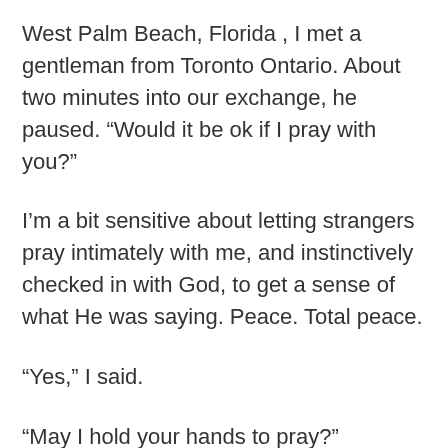West Palm Beach, Florida , I met a gentleman from Toronto Ontario. About two minutes into our exchange, he paused. “Would it be ok if I pray with you?”
I’m a bit sensitive about letting strangers pray intimately with me, and instinctively checked in with God, to get a sense of what He was saying. Peace. Total peace.
“Yes,” I said.
“May I hold your hands to pray?”